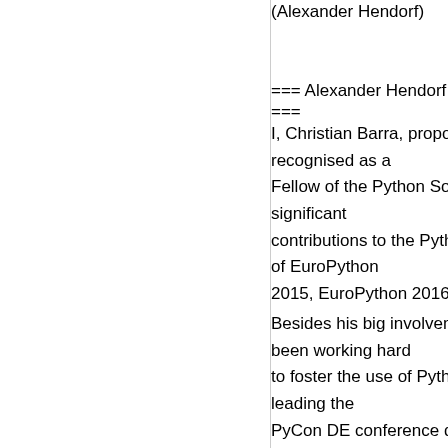(Alexander Hendorf)
=== Alexander Hendorf ===
I, Christian Barra, propose that recognised as a Fellow of the Python Software significant contributions to the Python co of EuroPython 2015, EuroPython 2016, Euro
Besides his big involvement in been working hard to foster the use of Python in leading the PyCon DE conference during local chapters of PyData in Frankfurt and Karls
----------...
Line 111: